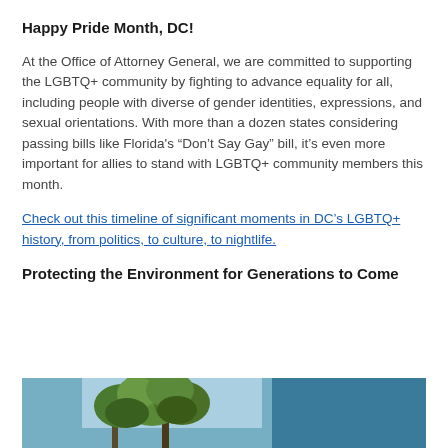Happy Pride Month, DC!
At the Office of Attorney General, we are committed to supporting the LGBTQ+ community by fighting to advance equality for all, including people with diverse of gender identities, expressions, and sexual orientations. With more than a dozen states considering passing bills like Florida's “Don’t Say Gay” bill, it’s even more important for allies to stand with LGBTQ+ community members this month.
Check out this timeline of significant moments in DC’s LGBTQ+ history, from politics, to culture, to nightlife.
Protecting the Environment for Generations to Come
[Figure (photo): Outdoor scene with trees against a blue sky and teal background panel]